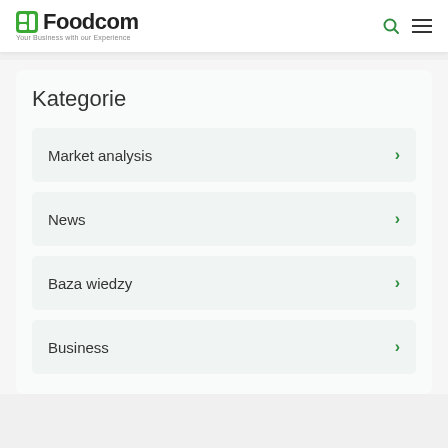Foodcom — Your Business with our Experience
Kategorie
Market analysis
News
Baza wiedzy
Business